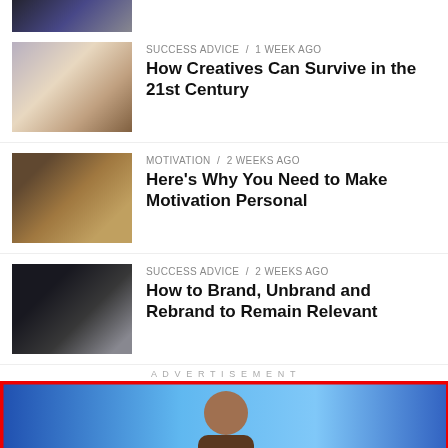[Figure (photo): Partial top thumbnail image of a dark blue building/architecture scene]
[Figure (photo): Woman with eyes closed, light and shadow pattern on face]
SUCCESS ADVICE / 1 week ago
How Creatives Can Survive in the 21st Century
[Figure (photo): Person with red/auburn hair bun from behind, wearing dark clothing]
MOTIVATION / 2 weeks ago
Here's Why You Need to Make Motivation Personal
[Figure (photo): Hand wearing a watch in dark dramatic lighting]
SUCCESS ADVICE / 2 weeks ago
How to Brand, Unbrand and Rebrand to Remain Relevant
[Figure (other): reCAPTCHA privacy badge in bottom right corner]
ADVERTISEMENT
[Figure (photo): Advertisement banner showing a person in front of blue LED screen]
[Figure (other): Bottom ad bar: DON'T TEXT AND [car emoji] with NHTSA logo and close button]